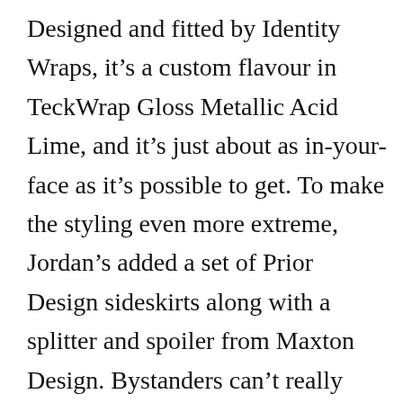Designed and fitted by Identity Wraps, it's a custom flavour in TeckWrap Gloss Metallic Acid Lime, and it's just about as in-your-face as it's possible to get. To make the styling even more extreme, Jordan's added a set of Prior Design sideskirts along with a splitter and spoiler from Maxton Design. Bystanders can't really overlook the fact that those sideskirts are sitting on the ground either, as he's done that most magnificently sacri-licious thing anyone with a sense of style in a car can possibly do: